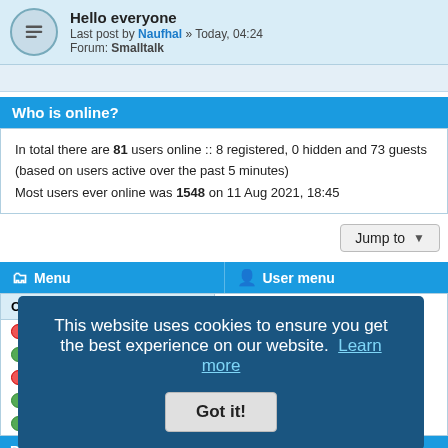Hello everyone — Last post by Naufhal » Today, 04:24 — Forum: Smalltalk
Who is online?
In total there are 81 users online :: 8 registered, 0 hidden and 73 guests (based on users active over the past 5 minutes)
Most users ever online was 1548 on 11 Aug 2021, 18:45
Jump to
Menu
User menu
Content
Username:
This website uses cookies to ensure you get the best experience on our website. Learn more
Got it!
Plugins
Friends